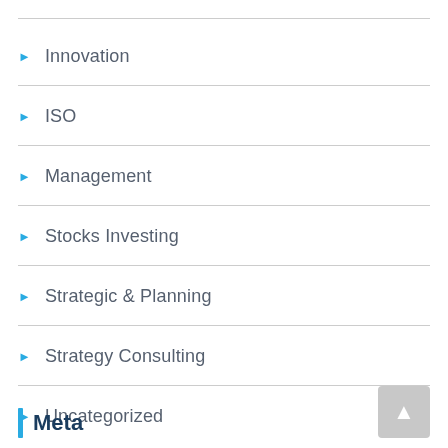Innovation
ISO
Management
Stocks Investing
Strategic & Planning
Strategy Consulting
Uncategorized
Meta